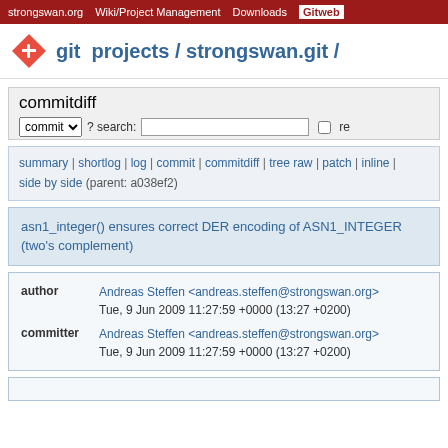strongswan.org | Wiki/Project Management | Downloads | Gitweb
git projects / strongswan.git /
commitdiff
commit ? search: re
summary | shortlog | log | commit | commitdiff | tree raw | patch | inline | side by side (parent: a038ef2)
asn1_integer() ensures correct DER encoding of ASN1_INTEGER (two's complement)
| field | name | date |
| --- | --- | --- |
| author | Andreas Steffen <andreas.steffen@strongswan.org> | Tue, 9 Jun 2009 11:27:59 +0000 (13:27 +0200) |
| committer | Andreas Steffen <andreas.steffen@strongswan.org> | Tue, 9 Jun 2009 11:27:59 +0000 (13:27 +0200) |